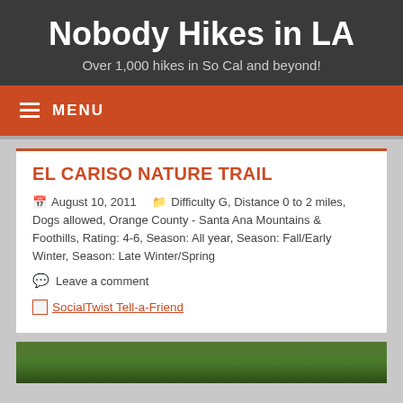Nobody Hikes in LA
Over 1,000 hikes in So Cal and beyond!
MENU
EL CARISO NATURE TRAIL
August 10, 2011   Difficulty G, Distance 0 to 2 miles, Dogs allowed, Orange County - Santa Ana Mountains & Foothills, Rating: 4-6, Season: All year, Season: Fall/Early Winter, Season: Late Winter/Spring
Leave a comment
SocialTwist Tell-a-Friend
[Figure (photo): Green foliage/trees at bottom of page]